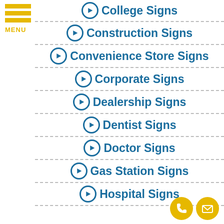[Figure (other): Hamburger menu icon with three yellow horizontal bars and MENU text below]
College Signs
Construction Signs
Convenience Store Signs
Corporate Signs
Dealership Signs
Dentist Signs
Doctor Signs
Gas Station Signs
Hospital Signs
[Figure (other): Two circular yellow contact icons: phone and email]